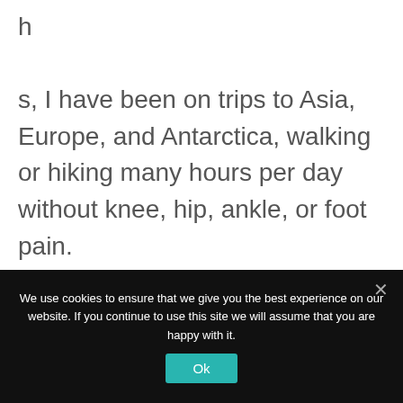h
s, I have been on trips to Asia, Europe, and Antarctica, walking or hiking many hours per day without knee, hip, ankle, or foot pain.

Both shoulders are pain-free and have full range of motion. Along with my improved mobility, I am back to flying my 1934 Waco bi-plane, pheasant hunting and
We use cookies to ensure that we give you the best experience on our website. If you continue to use this site we will assume that you are happy with it.